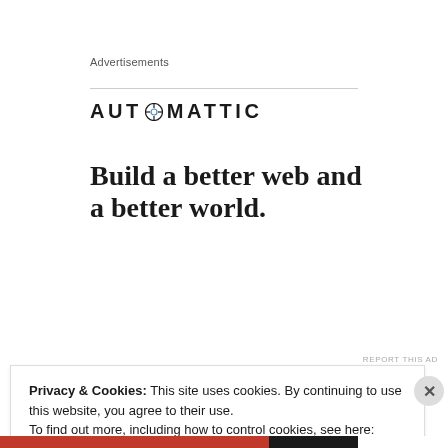Advertisements
[Figure (logo): Automattic logo with stylized compass 'O' icon]
Build a better web and a better world.
[Figure (photo): Apply button (blue/teal button) and circular portrait photo of a man sitting at a desk, thinking, looking upward]
REPORT THIS AD
Privacy & Cookies: This site uses cookies. By continuing to use this website, you agree to their use.
To find out more, including how to control cookies, see here: Cookie Policy
Close and accept